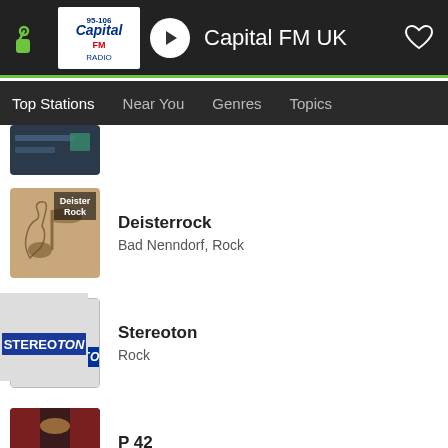[Figure (screenshot): App top bar with green logo, Capital FM UK logo, play button, station name 'Capital FM UK', and heart icon on dark background]
Top Stations   Near You   Genres   Topics
[Figure (photo): Partial thumbnail of a station (top of list, cropped)]
[Figure (illustration): Deister Rock station thumbnail - musical notation background with 'Deister Rock' label]
Deisterrock
Bad Nenndorf, Rock
[Figure (logo): Stereoton station thumbnail - STEREOTON logo on grey background]
Stereoton
Rock
[Figure (photo): P 42 station thumbnail - photo of a recording studio room]
P 42
Aurich, Rock
[Figure (logo): Elztalwelle Rock station thumbnail - concentric arcs logo on dark background]
Elztalwelle Rock